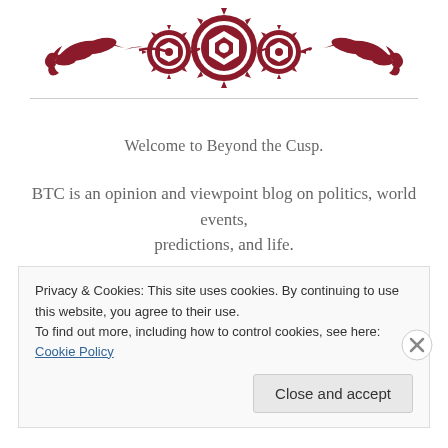[Figure (illustration): Decorative dark red ornamental divider with floral and gear/medallion motifs on a white background]
Welcome to Beyond the Cusp.
BTC is an opinion and viewpoint blog on politics, world events, predictions, and life.
Comments are welcome and are usually posted within 48 hours.
Privacy & Cookies: This site uses cookies. By continuing to use this website, you agree to their use.
To find out more, including how to control cookies, see here: Cookie Policy